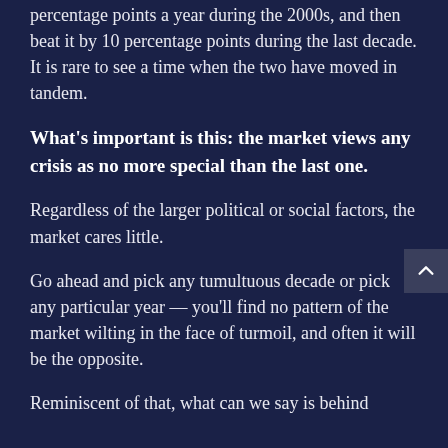percentage points a year during the 2000s, and then beat it by 10 percentage points during the last decade. It is rare to see a time when the two have moved in tandem.
What's important is this: the market views any crisis as no more special than the last one.
Regardless of the larger political or social factors, the market cares little.
Go ahead and pick any tumultuous decade or pick any particular year — you'll find no pattern of the market wilting in the face of turmoil, and often it will be the opposite.
Reminiscent of that, what can we say is behind